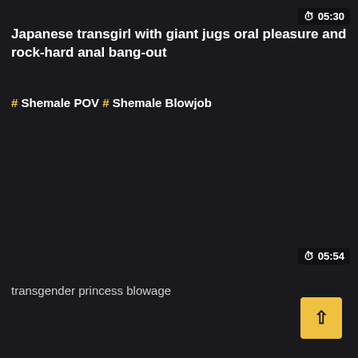05:30
Japanese transgirl with giant jugs oral pleasure and rock-hard anal bang-out
# Shemale POV # Shemale Blowjob
05:54
transgender princess blowage